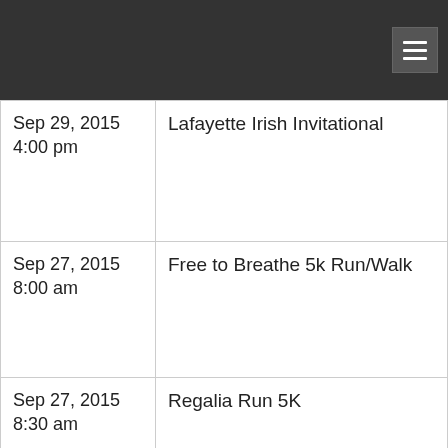| Date/Time | Event |
| --- | --- |
| Sep 29, 2015
4:00 pm | Lafayette Irish Invitational |
| Sep 27, 2015
8:00 am | Free to Breathe 5k Run/Walk |
| Sep 27, 2015
8:30 am | Regalia Run 5K |
| Sep 26, 2015
8:00 am | Pony Express
5k Results |
| Sep 26, 2015
7:30 am | Roots N Blues N BBQ 10k |